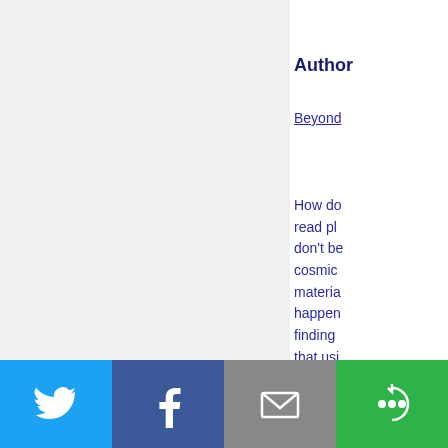Author
Beyond
How do read pl don't be cosmic material happen finding that usi finding
Free Personal Horoscope and Lucky Numbers
[Figure (infographic): Social share bar with Twitter (blue), Facebook (dark blue), Email (grey), and More (green) buttons with icons]